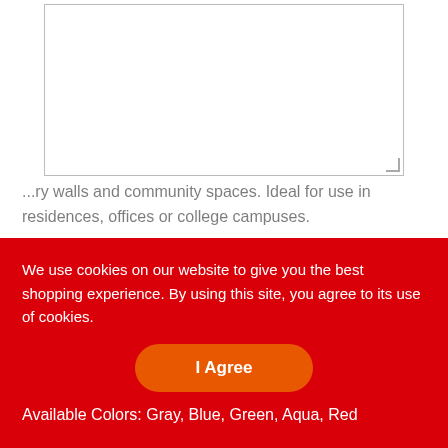[Figure (screenshot): A textarea input field with a resize handle at the bottom-right corner]
Description
Mini Hourglass is a modern pattern with an ombre in stacked shapes. A lot of space between shapes a linen texture in the ground creates a soft feel of a ...ry walls and community spaces. Ideal for use in residences, offices or college campuses.
Available Colors: Gray, Blue, Green, Aqua, Red
We use cookies on our website to give you the best shopping experience. By using this site, you agree to its use of cookies.
I Agree